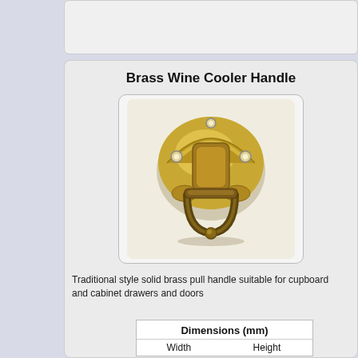Brass Wine Cooler Handle
[Figure (photo): Photo of a brass wine cooler handle — traditional style solid brass pull handle with a D-ring drop design on a decorative backplate, shown in antique brass finish]
Traditional style solid brass pull handle suitable for cupboard and cabinet drawers and doors
| Dimensions (mm) |  |
| --- | --- |
| Width | Height |